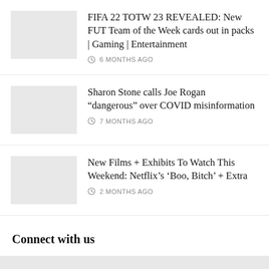FIFA 22 TOTW 23 REVEALED: New FUT Team of the Week cards out in packs | Gaming | Entertainment
6 MONTHS AGO
Sharon Stone calls Joe Rogan “dangerous” over COVID misinformation
7 MONTHS AGO
New Films + Exhibits To Watch This Weekend: Netflix’s ‘Boo, Bitch’ + Extra
2 MONTHS AGO
Connect with us